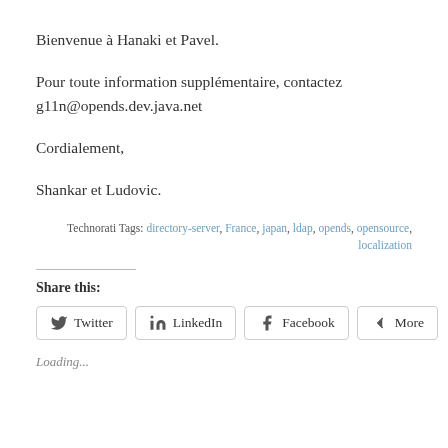Bienvenue à Hanaki et Pavel.
Pour toute information supplémentaire, contactez g11n@opends.dev.java.net
Cordialement,
Shankar et Ludovic.
Technorati Tags: directory-server, France, japan, ldap, opends, opensource, localization
Share this:
Twitter LinkedIn Facebook More
Loading...